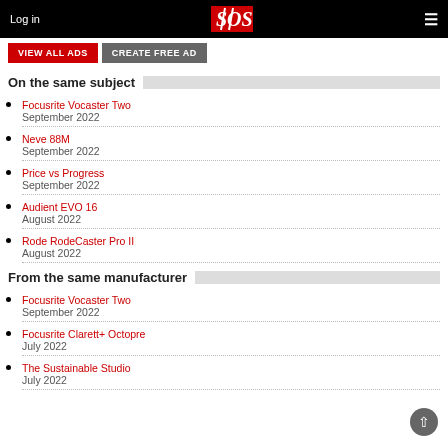Log in | SOS
VIEW ALL ADS | CREATE FREE AD
On the same subject
Focusrite Vocaster Two
September 2022
Neve 88M
September 2022
Price vs Progress
September 2022
Audient EVO 16
August 2022
Rode RodeCaster Pro II
August 2022
From the same manufacturer
Focusrite Vocaster Two
September 2022
Focusrite Clarett+ Octopre
July 2022
The Sustainable Studio
July 2022